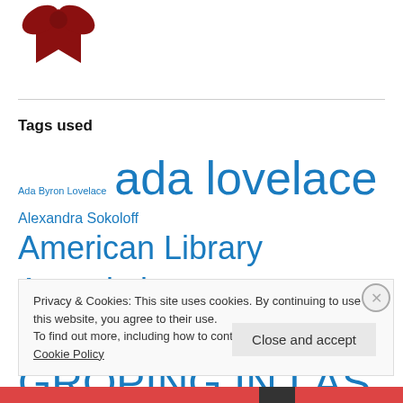[Figure (illustration): Dark red award ribbon/medal icon at top left]
Tags used
Ada Byron Lovelace  ada lovelace  Alexandra Sokoloff  American Library Association  Analytical Engine  Angela Quarles  Anne R. Allen  BEER AND GROPING IN LAS VEGAS  blogging  book  Books  British Museum  Browncoat
Privacy & Cookies: This site uses cookies. By continuing to use this website, you agree to their use.
To find out more, including how to control cookies, see here: Cookie Policy
Close and accept